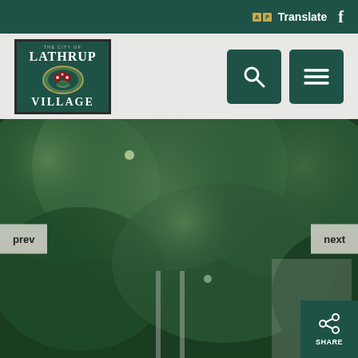AT Translate  f
[Figure (logo): City of Lathrup Village seal/logo on dark green background with text THE CITY OF LATHRUP VILLAGE and decorative emblem]
[Figure (screenshot): Website navigation bar with search and menu buttons on gray background]
[Figure (photo): Blurred outdoor photo showing trees and buildings, used as hero/slider image with prev and next navigation buttons]
[Figure (other): Share button with share icon in bottom right corner]